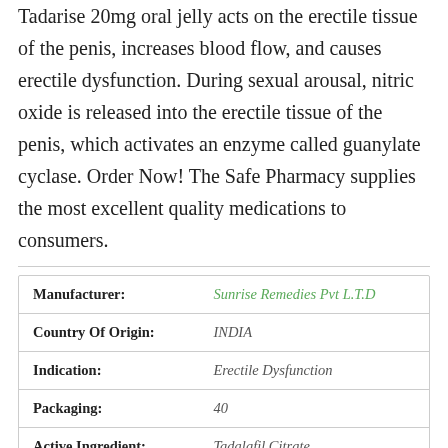Tadarise 20mg oral jelly acts on the erectile tissue of the penis, increases blood flow, and causes erectile dysfunction. During sexual arousal, nitric oxide is released into the erectile tissue of the penis, which activates an enzyme called guanylate cyclase. Order Now! The Safe Pharmacy supplies the most excellent quality medications to consumers.
| Field | Value |
| --- | --- |
| Manufacturer: | Sunrise Remedies Pvt L.T.D |
| Country Of Origin: | INDIA |
| Indication: | Erectile Dysfunction |
| Packaging: | 40 |
| Active Ingredient: | Tadalafil Citrate |